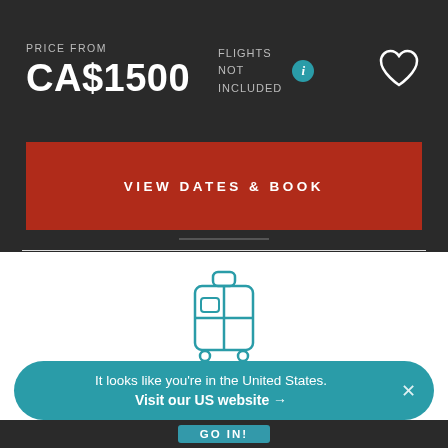PRICE FROM
CA$1500
FLIGHTS
NOT
INCLUDED
VIEW DATES & BOOK
[Figure (illustration): Teal outline icon of a rolling suitcase/luggage]
AIRPORT
TRANSFERS
Find out more ›
It looks like you're in the United States.
Visit our US website →